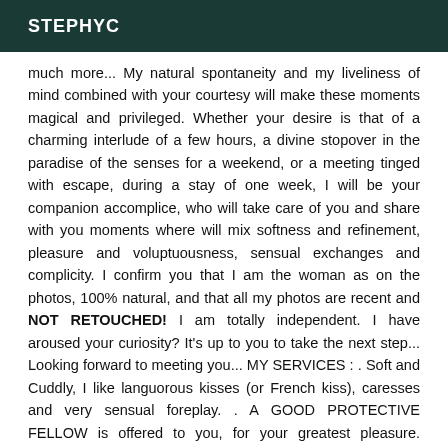STEPHYC
much more... My natural spontaneity and my liveliness of mind combined with your courtesy will make these moments magical and privileged. Whether your desire is that of a charming interlude of a few hours, a divine stopover in the paradise of the senses for a weekend, or a meeting tinged with escape, during a stay of one week, I will be your companion accomplice, who will take care of you and share with you moments where will mix softness and refinement, pleasure and voluptuousness, sensual exchanges and complicity. I confirm you that I am the woman as on the photos, 100% natural, and that all my photos are recent and NOT RETOUCHED! I am totally independent. I have aroused your curiosity? It's up to you to take the next step... Looking forward to meeting you... MY SERVICES : . Soft and Cuddly, I like languorous kisses (or French kiss), caresses and very sensual foreplay. . A GOOD PROTECTIVE FELLOW is offered to you, for your greatest pleasure. However